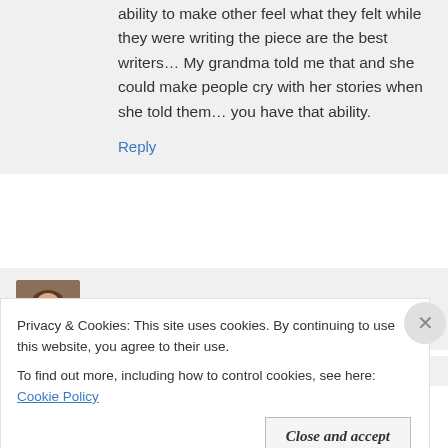ability to make other feel what they felt while they were writing the piece are the best writers… My grandma told me that and she could make people cry with her stories when she told them… you have that ability.
Reply
tric   September 19, 2016 at 6:35 pm
Wow I've a big head after reading your lovely
Privacy & Cookies: This site uses cookies. By continuing to use this website, you agree to their use.
To find out more, including how to control cookies, see here: Cookie Policy
Close and accept